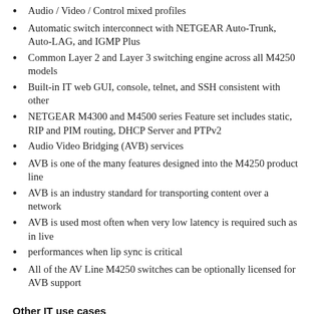Audio / Video / Control mixed profiles
Automatic switch interconnect with NETGEAR Auto-Trunk, Auto-LAG, and IGMP Plus
Common Layer 2 and Layer 3 switching engine across all M4250 models
Built-in IT web GUI, console, telnet, and SSH consistent with other
NETGEAR M4300 and M4500 series Feature set includes static, RIP and PIM routing, DHCP Server and PTPv2
Audio Video Bridging (AVB) services
AVB is one of the many features designed into the M4250 product line
AVB is an industry standard for transporting content over a network
AVB is used most often when very low latency is required such as in live
performances when lip sync is critical
All of the AV Line M4250 switches can be optionally licensed for AVB support
Other IT use cases
Standard or recessed mounting with all ports in the back, or all